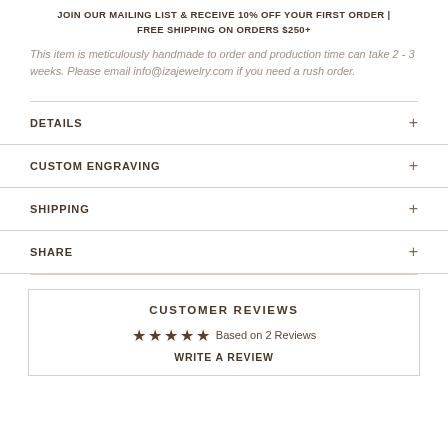JOIN OUR MAILING LIST & RECEIVE 10% OFF YOUR FIRST ORDER | FREE SHIPPING ON ORDERS $250+
This item is meticulously handmade to order and production time can take 2 - 3 weeks. Please email info@izajewelry.com if you need a rush order.
DETAILS
CUSTOM ENGRAVING
SHIPPING
SHARE
CUSTOMER REVIEWS
★★★★★ Based on 2 Reviews
WRITE A REVIEW